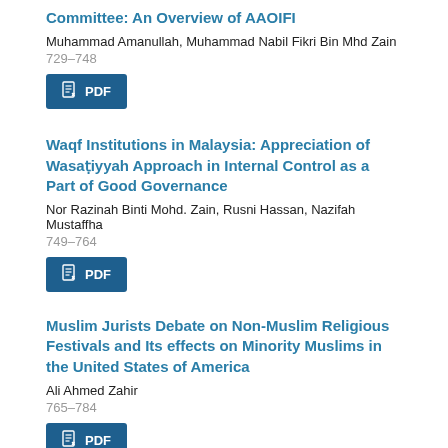Committee: An Overview of AAOIFI
Muhammad Amanullah, Muhammad Nabil Fikri Bin Mhd Zain
729–748
PDF
Waqf Institutions in Malaysia: Appreciation of Wasaṭiyyah Approach in Internal Control as a Part of Good Governance
Nor Razinah Binti Mohd. Zain, Rusni Hassan, Nazifah Mustaffha
749–764
PDF
Muslim Jurists Debate on Non-Muslim Religious Festivals and Its effects on Minority Muslims in the United States of America
Ali Ahmed Zahir
765–784
PDF